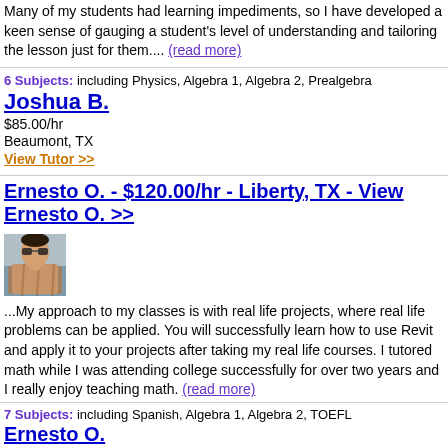Many of my students had learning impediments, so I have developed a keen sense of gauging a student's level of understanding and tailoring the lesson just for them.... (read more)
6 Subjects: including Physics, Algebra 1, Algebra 2, Prealgebra
Joshua B.
$85.00/hr
Beaumont, TX
View Tutor >>
Ernesto O. - $120.00/hr - Liberty, TX - View Ernesto O. >>
[Figure (photo): Photo of tutor Ernesto O. wearing sunglasses and a plaid shirt]
...My approach to my classes is with real life projects, where real life problems can be applied. You will successfully learn how to use Revit and apply it to your projects after taking my real life courses. I tutored math while I was attending college successfully for over two years and I really enjoy teaching math. (read more)
7 Subjects: including Spanish, Algebra 1, Algebra 2, TOEFL
Ernesto O.
$120.00/hr
Liberty, TX